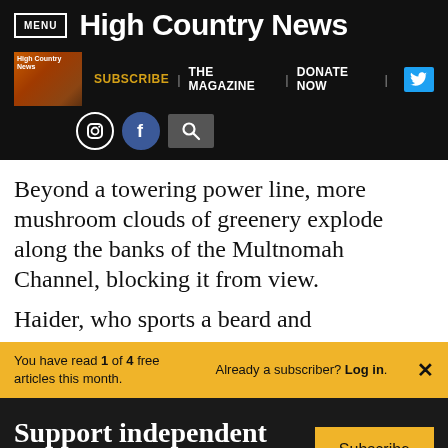MENU | High Country News
SUBSCRIBE | THE MAGAZINE | DONATE NOW
Beyond a towering power line, more mushroom clouds of greenery explode along the banks of the Multnomah Channel, blocking it from view.
Haider, who sports a beard and
You have read 1 of 4 free articles this month. Already a subscriber? Log in.
Support independent journalism. Subscribe